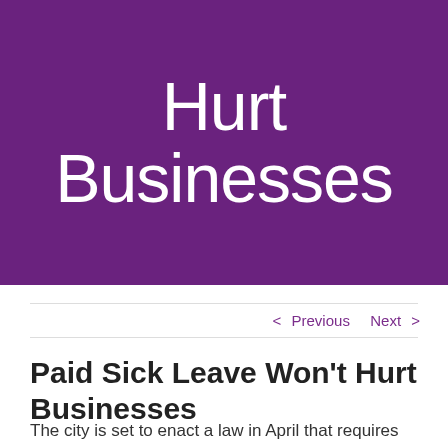[Figure (photo): Purple-tinted hero banner image showing hands on documents, overlaid with large white text reading 'Hurt Businesses']
Hurt Businesses
< Previous   Next >
Paid Sick Leave Won't Hurt Businesses
The city is set to enact a law in April that requires businesses with at least 15 employees to offer paid